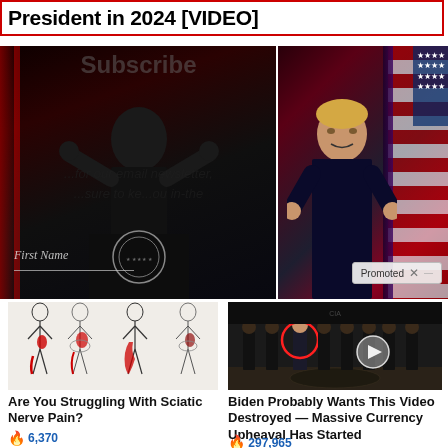President in 2024 [VIDEO]
[Figure (photo): Two-panel composite image: left panel shows Biden speaking at podium with Presidential seal against dark red-lit background with 'Subscribe' text overlay and newsletter subscription prompt; right panel shows Trump gesturing in front of American flag against red/purple background. 'First Name' field and 'Promoted X' badge visible.]
[Figure (illustration): Medical illustration showing human figures with sciatic nerve pain highlighted in red along the leg and hip area]
Are You Struggling With Sciatic Nerve Pain?
6,370
[Figure (photo): Group of people in formal attire standing in what appears to be CIA headquarters lobby. One person circled in red, another circled in white with a play button overlay.]
Biden Probably Wants This Video Destroyed — Massive Currency Upheaval Has Started
297,965